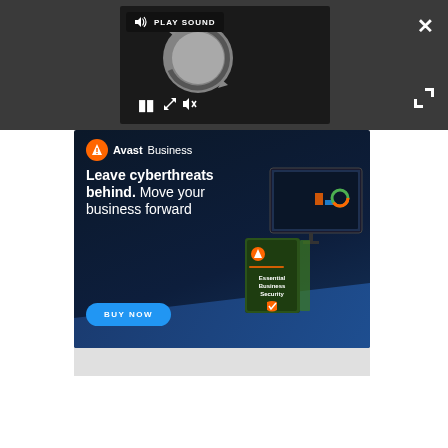[Figure (screenshot): Dark toolbar with video player showing loading spinner, play sound label, pause button, close X button, and expand arrows]
[Figure (screenshot): Avast Business advertisement banner with dark navy background. Shows Avast logo, text 'Leave cyberthreats behind. Move your business forward', a BUY NOW button, and product image of Essential Business Security box with dashboard screenshot]
[Figure (screenshot): Gray strip and white area below the advertisement]